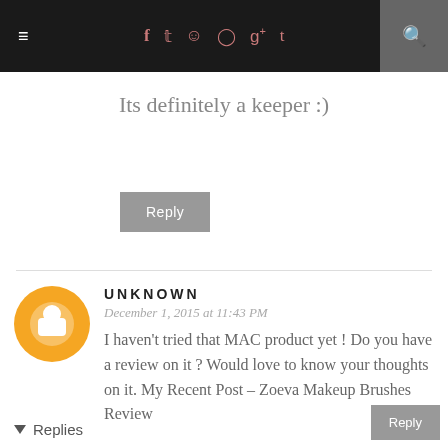≡ f t [instagram] [pinterest] g+ t [search]
Its definitely a keeper :)
Reply
UNKNOWN
December 1, 2015 at 11:43 PM
I haven't tried that MAC product yet ! Do you have a review on it ? Would love to know your thoughts on it. My Recent Post – Zoeva Makeup Brushes Review
Reply
Replies